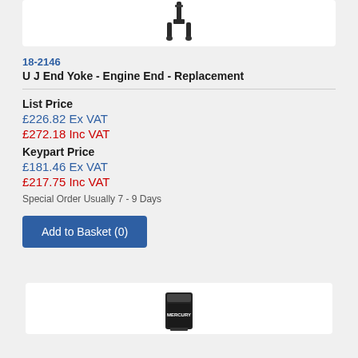[Figure (photo): U J End Yoke part image on white background]
18-2146
U J End Yoke - Engine End - Replacement
List Price
£226.82 Ex VAT
£272.18 Inc VAT
Keypart Price
£181.46 Ex VAT
£217.75 Inc VAT
Special Order Usually 7 - 9 Days
Add to Basket (0)
[Figure (photo): Second product image partially visible at bottom]